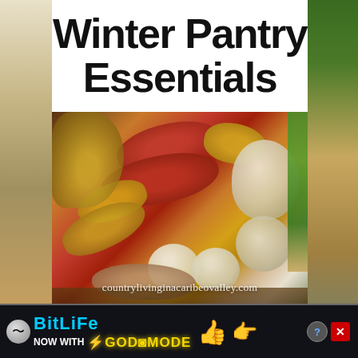Winter Pantry Essentials
[Figure (photo): A collection of winter pantry vegetables including red and yellow potatoes, garlic bulbs, onions, eggs in a wire basket, ginger root, and leeks arranged together]
countrylivinginacaribeovalley.com
[Figure (screenshot): Advertisement banner for BitLife game - NOW WITH GOD MODE, showing a snake icon, yellow thumbs up emoji, pointing hand illustration, help icon and close button]